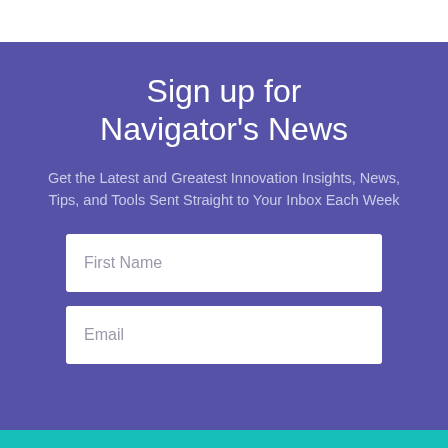Sign up for Navigator's News
Get the Latest and Greatest Innovation Insights, News, Tips, and Tools Sent Straight to Your Inbox Each Week
First Name
Email